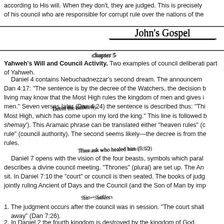according to His will. When they don't, they are judged. This is precisely of his council who are responsible for corrupt rule over the nations of the
[Figure (illustration): Handwritten cursive text reading 'John's Gospel' with underline]
[Figure (illustration): Handwritten cursive text reading 'chapter 5']
Yahweh's Will and Council Activity. Two examples of council deliberati part of Yahweh.
Daniel 4 contains Nebuchadnezzar's second dream. The announcem Dan 4:17: "The sentence is by the decree of the Watchers, the decision b living may know that the Most High rules the kingdom of men and gives i men." Seven verses later (Dan 4:24) the sentence is described thus: "Thi Most High, which has come upon my lord the king." This line is followed b shemay'). This Aramaic phrase can be translated either "heaven rules" (c rule" (council authority). The second seems likely—the decree is from the rules.
[Figure (illustration): Handwritten cursive annotation reading 'Then ask who healed him (5:12)']
Daniel 7 opens with the vision of the four beasts, symbols which paral describes a divine council meeting. "Thrones" (plural) are set up. The An sit. In Daniel 7:10 the "court" or council is then seated. The books of judg jointly ruling Ancient of Days and the Council (and the Son of Man by imp
[Figure (illustration): Handwritten cursive annotation reading 'Sin + Suffers']
The judgment occurs after the council was in session. "The court shall away" (Dan 7:26).
In Daniel 2 the fourth kingdom is destroyed by the kingdom of God.
The kingdom of God in Daniel 7 is given by God to the Son of Man, wh (Dan 7:25). These are probably not humans—humans are brought int of the holy ones of the Most High" (Dan 7:27). "Heavenly ones" is a te Psa 89:5–6; Job 15:15).